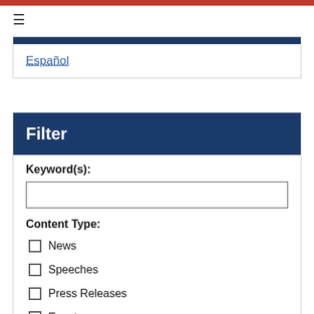≡
Español
Filter
Keyword(s):
Content Type:
News
Speeches
Press Releases
Events
Video